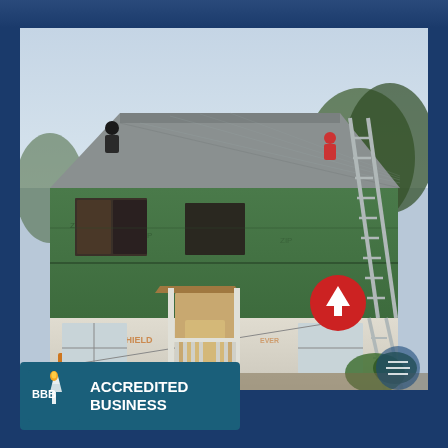[Figure (photo): Construction photo of a two-story house under renovation. Workers are on the roof installing roofing material. The house exterior is wrapped in green ZIP System sheathing on the upper level and white/orange Tyvek house wrap on the lower level labeled EVERSHIELD. A tall ladder leans against the right side of the house. A red circle with an upward arrow icon is overlaid on the lower right portion of the image. A blue circular watermark/logo appears bottom right.]
[Figure (logo): BBB Accredited Business badge. Teal/dark cyan background with the BBB torch logo on the left and bold white text reading ACCREDITED BUSINESS on the right.]